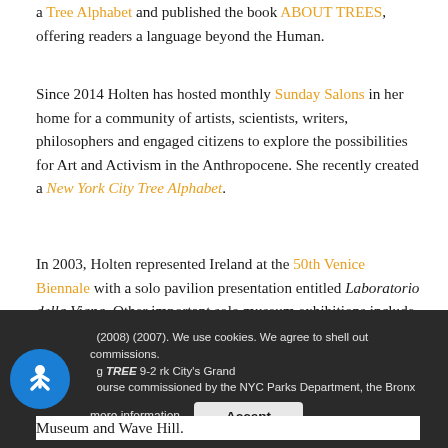a Tree Alphabet and published the book ABOUT TREES, offering readers a language beyond the Human.
Since 2014 Holten has hosted monthly Sunday Salons in her home for a community of artists, scientists, writers, philosophers and engaged citizens to explore the possibilities for Art and Activism in the Anthropocene. She recently created a New York City Tree Alphabet.
In 2003, Holten represented Ireland at the 50th Venice Biennale with a solo pavilion presentation entitled Laboratorio della Vigna. Other important solo museum exhibitions include the New Orleans Museum of Art in New Orleans (2012), Dublin City Gallery, The Hugh Lane in Dublin (2010), The Bronx Museum of the Arts in New York (2009); Villa Merkel in Esslingen (2008), Nevada Museum of Art in Reno (2008) and the Contemporary Art Museum
Museum and Wave Hill.